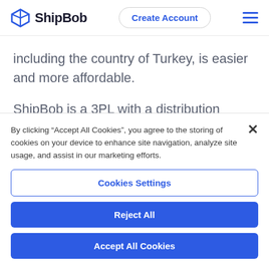ShipBob | Create Account
including the country of Turkey, is easier and more affordable.
ShipBob is a 3PL with a distribution presence
By clicking “Accept All Cookies”, you agree to the storing of cookies on your device to enhance site navigation, analyze site usage, and assist in our marketing efforts.
Cookies Settings
Reject All
Accept All Cookies